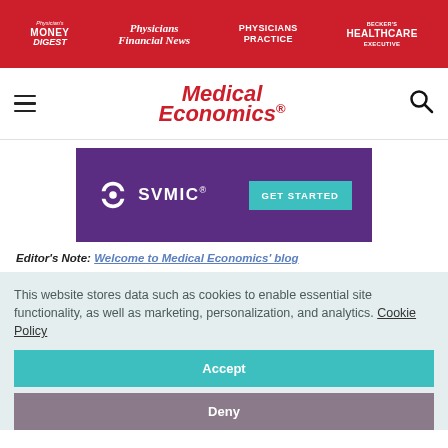Physician's Money Digest | Physicians Financial News | Physicians Practice | Becker's Healthcare Executive
[Figure (logo): Medical Economics logo in red italic text]
[Figure (logo): SVMIC advertisement banner with GET STARTED button]
Editor's Note: Welcome to Medical Economics' blog
This website stores data such as cookies to enable essential site functionality, as well as marketing, personalization, and analytics. Cookie Policy
Accept
Deny